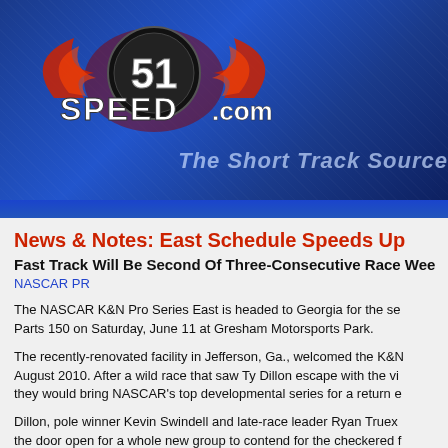[Figure (logo): Speed51.com logo with red flame wings and a stylized '51' graphic on a blue textured background]
News & Notes: East Schedule Speeds Up
Fast Track Will Be Second Of Three-Consecutive Race Weekends
NASCAR PR
The NASCAR K&N Pro Series East is headed to Georgia for the se... Parts 150 on Saturday, June 11 at Gresham Motorsports Park.
The recently-renovated facility in Jefferson, Ga., welcomed the K&N... August 2010. After a wild race that saw Ty Dillon escape with the vi... they would bring NASCAR's top developmental series for a return e...
Dillon, pole winner Kevin Swindell and late-race leader Ryan Truex... the door open for a whole new group to contend for the checkered f... The season's first five events have produced four different race win...
Like when Brett Moffitt competed at Iowa Speedway in May, Max G... capture the checkers at his home track. Gresham's father, Tony, is a... Jim, owns the facility. And like Moffitt, he'll look to celebrate in Victor... Gresham finished 12th in last year's event.